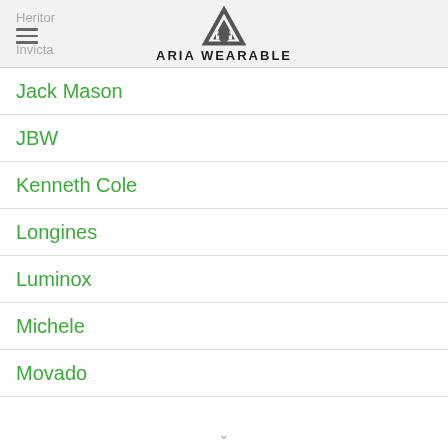Heritor | Invicta | ARIA WEARABLE
Jack Mason
JBW
Kenneth Cole
Longines
Luminox
Michele
Movado
∨